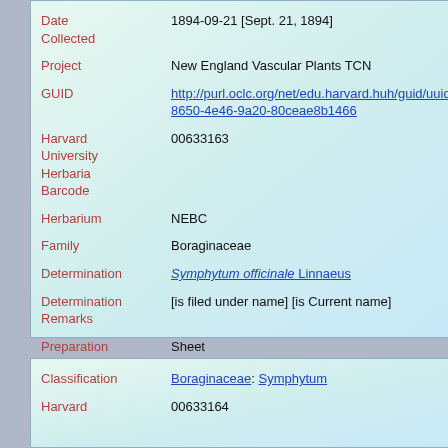| Field | Value |
| --- | --- |
| Date Collected | 1894-09-21 [Sept. 21, 1894] |
| Project | New England Vascular Plants TCN |
| GUID | http://purl.oclc.org/net/edu.harvard.huh/guid/uuid/a6c...8650-4e46-9a20-80ceae8b1466 |
| Harvard University Herbaria Barcode | 00633163 |
| Herbarium | NEBC |
| Family | Boraginaceae |
| Determination | Symphytum officinale Linnaeus |
| Determination Remarks | [is filed under name] [is Current name] |
| Preparation Type | Sheet |
| Preparation Method | Pressed |
| Field | Value |
| --- | --- |
| Classification | Boraginaceae: Symphytum |
| Harvard | 00633164 |